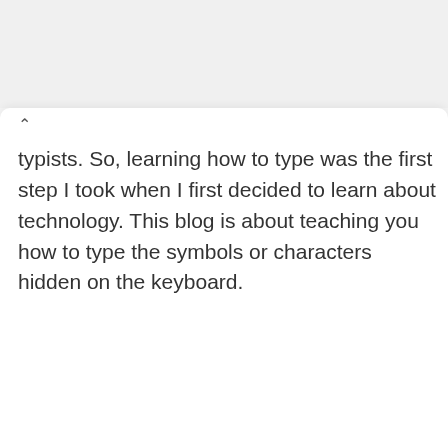READ MORE
typists. So, learning how to type was the first step I took when I first decided to learn about technology. This blog is about teaching you how to type the symbols or characters hidden on the keyboard.
Leave a Reply
Your email address will not be published.
Required fields are marked *